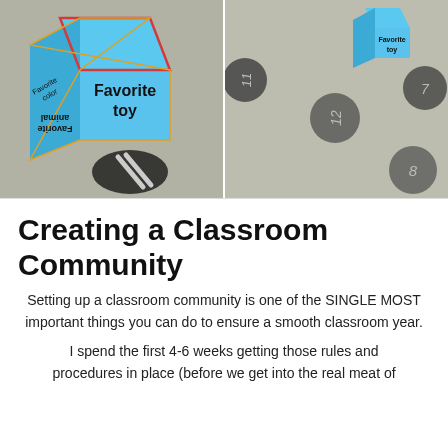[Figure (photo): Two side-by-side photos: left shows a blue paper cube labeled 'Favorite toy' and other sides with 'Favorite animal' (upside down) on a carpet with a numbered floor dot; right shows numbered floor dots (7, 12, 8) on carpet with a small paper cube in the upper right corner.]
Creating a Classroom Community
Setting up a classroom community is one of the SINGLE MOST important things you can do to ensure a smooth classroom year.
I spend the first 4-6 weeks getting those rules and procedures in place (before we get into the real meat of